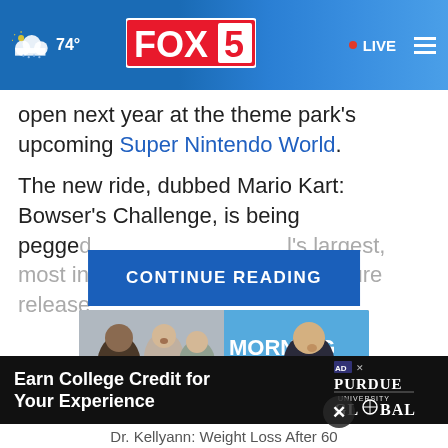74° FOX 5 LIVE
open next year at the theme park's upcoming Super Nintendo World.
The new ride, dubbed Mario Kart: Bowser's Challenge, is being pegged [...]'s largest, most interacti[...] ...ure release
CONTINUE READING
[Figure (screenshot): Video thumbnail showing Good Morning America segment with TV hosts]
Earn College Credit for Your Experience
[Figure (logo): Purdue University Global logo]
Dr. Kellyann: Weight Loss After 60